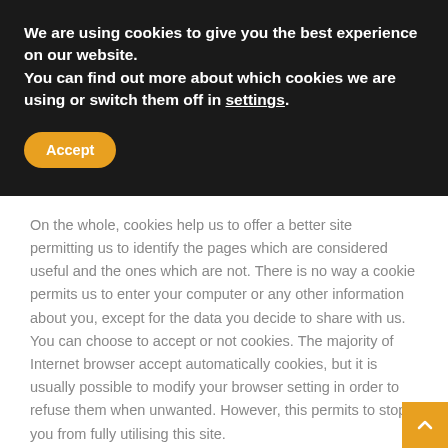We are using cookies to give you the best experience on our website.
You can find out more about which cookies we are using or switch them off in settings.
Accept
On the whole, cookies help us to offer a better site permitting us to identify the pages which are considered useful and the ones which are not. There is no way a cookie permits us to enter your computer or any other information about you, except for the data you decide to share with us. You can choose to accept or not cookies. The majority of Internet browser accept automatically cookies, but it is usually possible to modify your browser setting in order to refuse them when unwanted. However, this permits to stop you from fully utilising this site.
Link to other sites